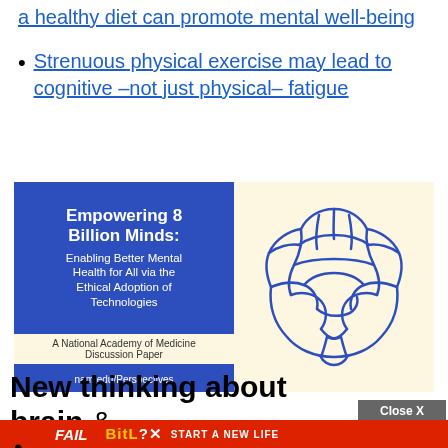a healthy diet can promote mental well-being
Strenuous physical exercise may lead to cognitive –not just physical– fatigue
[Figure (infographic): National Academy of Medicine discussion paper cover titled 'Empowering 8 Billion Minds: Enabling Better Mental Health for All via the Ethical Adoption of Technologies' with a blue brain illustration on a cream background. URL: nam.edu/Perspectives]
New thinking about brain & mental health:
[Figure (screenshot): Advertisement banner: 'Close X' button, BitLife game ad showing 'FAIL' text, fire imagery, and 'START A NEW LIFE' text]